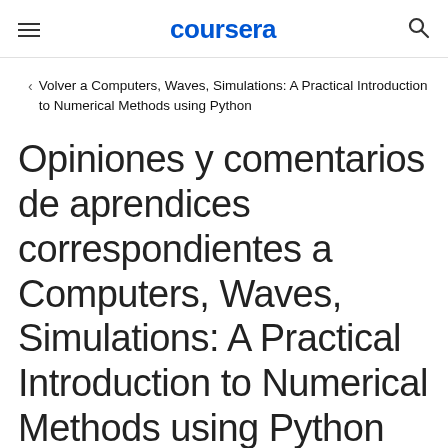coursera
Volver a Computers, Waves, Simulations: A Practical Introduction to Numerical Methods using Python
Opiniones y comentarios de aprendices correspondientes a Computers, Waves, Simulations: A Practical Introduction to Numerical Methods using Python por parte de Ludwig-Maximilians-